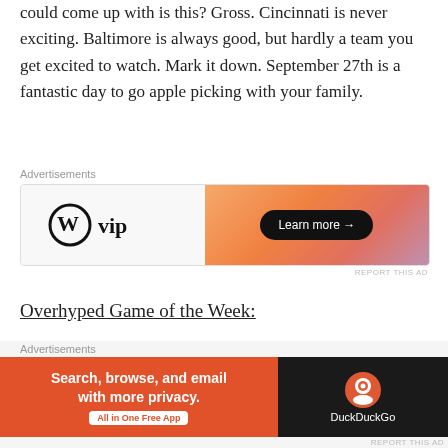could come up with is this? Gross. Cincinnati is never exciting. Baltimore is always good, but hardly a team you get excited to watch. Mark it down. September 27th is a fantastic day to go apple picking with your family.
[Figure (other): WordPress VIP advertisement banner with orange gradient and 'Learn more' button]
Overhyped Game of the Week:
Philadelphia at Jets – It's just a perfect storm of ESPN's favorite topics: The Jets, Chip Kelly, Mark Sanchez, Tim Tebow. And add in the fact that those two quarterbacks (assuming both are on
[Figure (other): DuckDuckGo advertisement banner: 'Search, browse, and email with more privacy. All in One Free App']